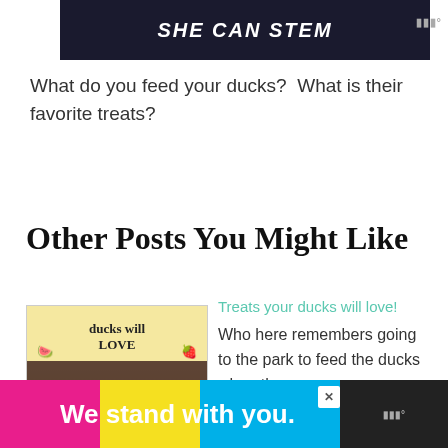[Figure (screenshot): Dark banner with text SHE CAN STEM in white bold italic letters]
What do you feed your ducks?  What is their favorite treats?
Other Posts You Might Like
[Figure (photo): Photo of ducks with text 'ducks will LOVE' at top, watermelon and strawberry emojis, ducks eating on ground below]
Treats your ducks will love!
Who here remembers going to the park to feed the ducks when they were a...
[Figure (screenshot): Advertisement banner: We stand with you. on pink, yellow, blue background with close button]